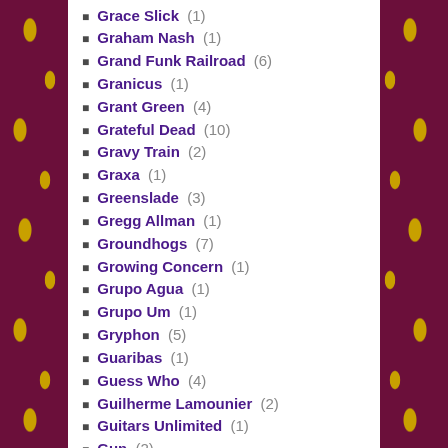Grace Slick (1)
Graham Nash (1)
Grand Funk Railroad (6)
Granicus (1)
Grant Green (4)
Grateful Dead (10)
Gravy Train (2)
Graxa (1)
Greenslade (3)
Gregg Allman (1)
Groundhogs (7)
Growing Concern (1)
Grupo Agua (1)
Grupo Um (1)
Gryphon (5)
Guaribas (1)
Guess Who (4)
Guilherme Lamounier (2)
Guitars Unlimited (1)
Gun (2)
Gwendal (1)
Gypsy (2)